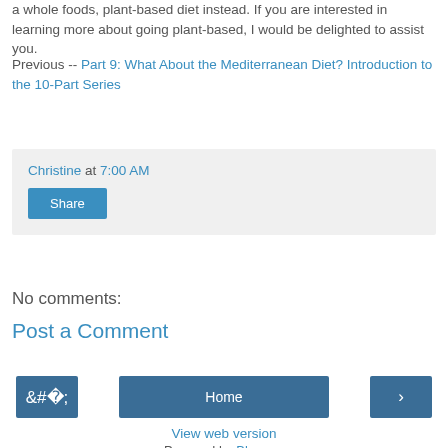a whole foods, plant-based diet instead. If you are interested in learning more about going plant-based, I would be delighted to assist you.
Previous -- Part 9: What About the Mediterranean Diet? Introduction to the 10-Part Series
Christine at 7:00 AM
Share
No comments:
Post a Comment
‹  Home  ›
View web version
Powered by Blogger.